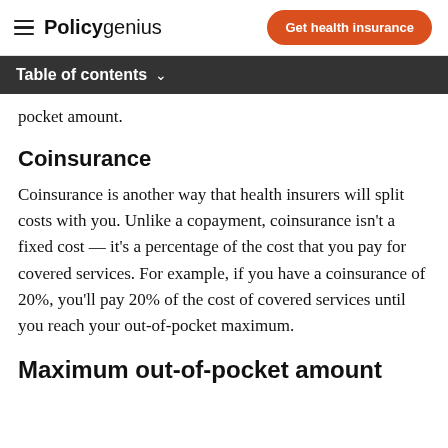Policygenius | Get health insurance
Table of contents
pocket amount.
Coinsurance
Coinsurance is another way that health insurers will split costs with you. Unlike a copayment, coinsurance isn't a fixed cost — it's a percentage of the cost that you pay for covered services. For example, if you have a coinsurance of 20%, you'll pay 20% of the cost of covered services until you reach your out-of-pocket maximum.
Maximum out-of-pocket amount